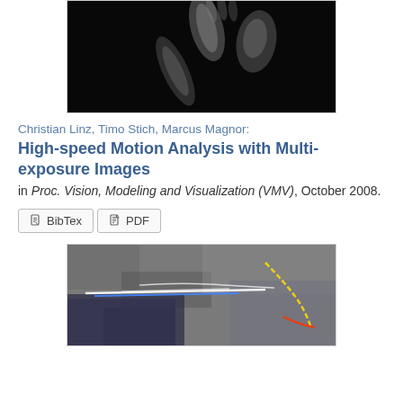[Figure (photo): Dark background image showing blurred human hands/fists in motion, multi-exposure style photograph]
Christian Linz, Timo Stich, Marcus Magnor:
High-speed Motion Analysis with Multi-exposure Images
in Proc. Vision, Modeling and Visualization (VMV), October 2008.
BibTex  PDF
[Figure (photo): Aerial/satellite photograph with colored lines (white, blue, yellow, red) overlaid showing motion paths or tracking results]